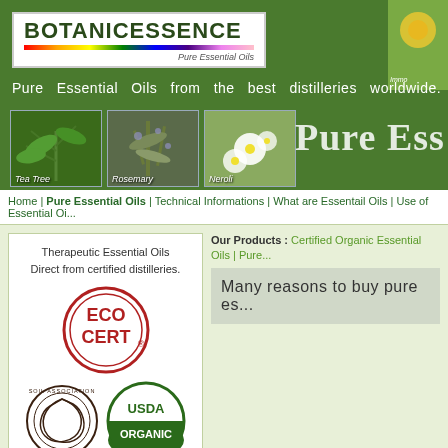[Figure (screenshot): BotanicEssence website header banner with logo, plant images (Tea Tree, Rosemary, Neroli), tagline, and top-right flower image]
Home | Pure Essential Oils | Technical Informations | What are Essentail Oils | Use of Essential Oi...
Therapeutic Essential Oils
Direct from certified distilleries.
[Figure (logo): ECO CERT certification logo - red circle with ECO CERT text]
[Figure (logo): Soil Association Organic Standard logo]
[Figure (logo): USDA Organic certification logo - green circle]
Quality you can trust!
Our Products : Certified Organic Essential Oils | Pure...
Many reasons to buy pure es...
Sign-in Not Success? Click Here